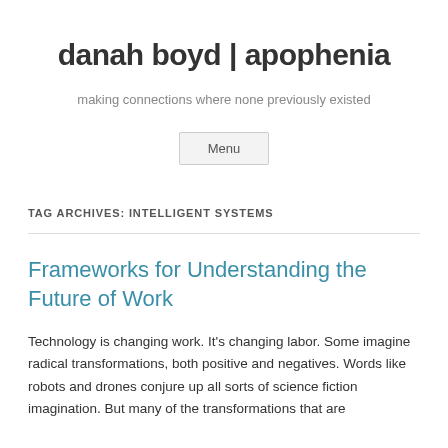danah boyd | apophenia
making connections where none previously existed
Menu
TAG ARCHIVES: INTELLIGENT SYSTEMS
Frameworks for Understanding the Future of Work
Technology is changing work. It's changing labor. Some imagine radical transformations, both positive and negatives. Words like robots and drones conjure up all sorts of science fiction imagination. But many of the transformations that are